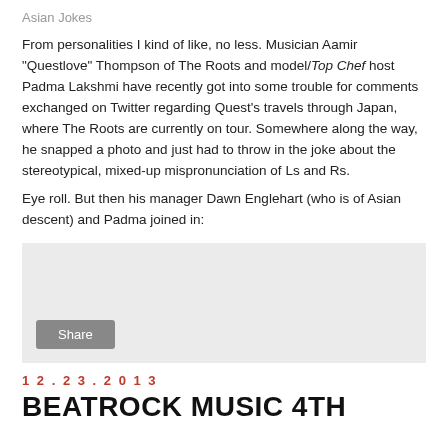Asian Jokes
From personalities I kind of like, no less. Musician Aamir "Questlove" Thompson of The Roots and model/Top Chef host Padma Lakshmi have recently got into some trouble for comments exchanged on Twitter regarding Quest's travels through Japan, where The Roots are currently on tour. Somewhere along the way, he snapped a photo and just had to throw in the joke about the stereotypical, mixed-up mispronunciation of Ls and Rs.
Eye roll. But then his manager Dawn Englehart (who is of Asian descent) and Padma joined in:
[Figure (other): Gray box placeholder with a Share button]
12.23.2013
BEATROCK MUSIC 4TH